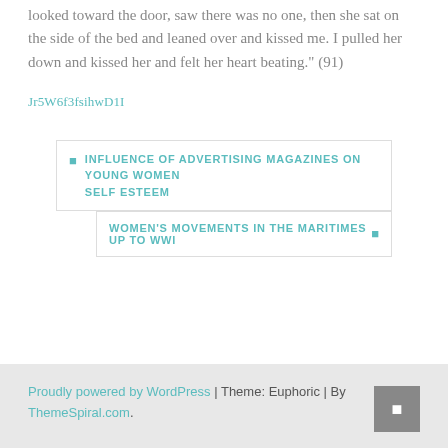looked toward the door, saw there was no one, then she sat on the side of the bed and leaned over and kissed me. I pulled her down and kissed her and felt her heart beating." (91)
Jr5W6f3fsihwD1I
INFLUENCE OF ADVERTISING MAGAZINES ON YOUNG WOMEN SELF ESTEEM
WOMEN'S MOVEMENTS IN THE MARITIMES UP TO WWI
Proudly powered by WordPress | Theme: Euphoric | By ThemeSpiral.com.